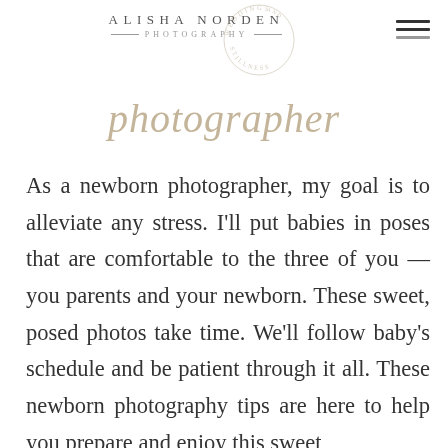[Figure (logo): Alisha Norden Photography logo with circular badge reading 'Weddings and Stillness' around the edge]
photographer
As a newborn photographer, my goal is to alleviate any stress. I'll put babies in poses that are comfortable to the three of you — you parents and your newborn. These sweet, posed photos take time. We'll follow baby's schedule and be patient through it all. These newborn photography tips are here to help you prepare and enjoy this sweet